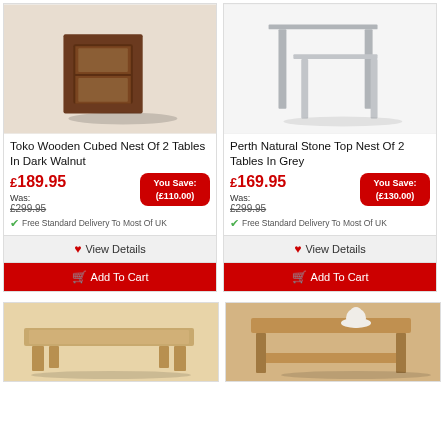[Figure (photo): Toko Wooden Cubed Nest Of 2 Tables In Dark Walnut - dark brown wooden cube side tables stacked]
[Figure (photo): Perth Natural Stone Top Nest Of 2 Tables In Grey - grey painted wooden nesting tables]
Toko Wooden Cubed Nest Of 2 Tables In Dark Walnut
Perth Natural Stone Top Nest Of 2 Tables In Grey
£189.95
You Save: (£110.00)
Was: £299.95
£169.95
You Save: (£130.00)
Was: £299.95
Free Standard Delivery To Most Of UK
Free Standard Delivery To Most Of UK
♥ View Details
🛒 Add To Cart
♥ View Details
🛒 Add To Cart
[Figure (photo): Rustic wooden coffee table - bottom left product]
[Figure (photo): Rustic wooden side table with white vase - bottom right product]